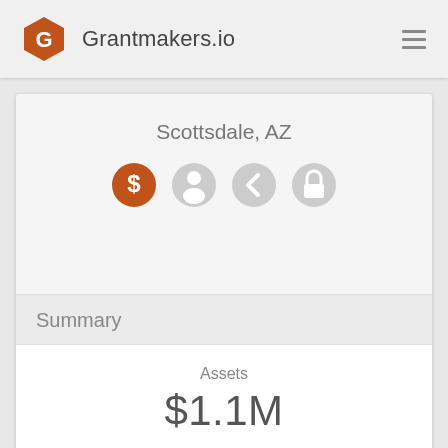Grantmakers.io
Scottsdale, AZ
[Figure (infographic): Row of four circular icons: dollar sign (orange/active), person icon (gray), globe/back icon (gray), lock icon (gray)]
Summary
Assets
$1.1M